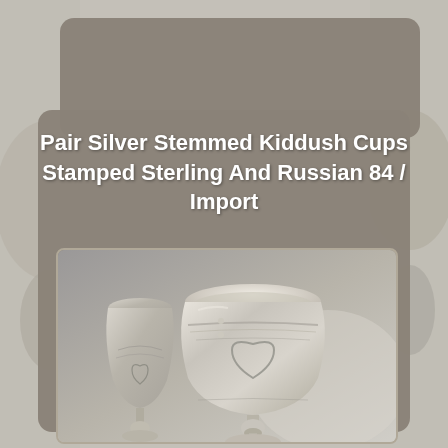[Figure (photo): Product listing page showing a pair of silver stemmed Kiddush cups with engraved heart and floral motifs, stamped Sterling and Russian 84. The page has a layered card design with a gray-brown background card behind a centered card. The background shows multiple silver cups out of focus. The foreground shows a close-up photo of two ornate sterling silver cups with flared rims and round bases.]
Pair Silver Stemmed Kiddush Cups Stamped Sterling And Russian 84 / Import